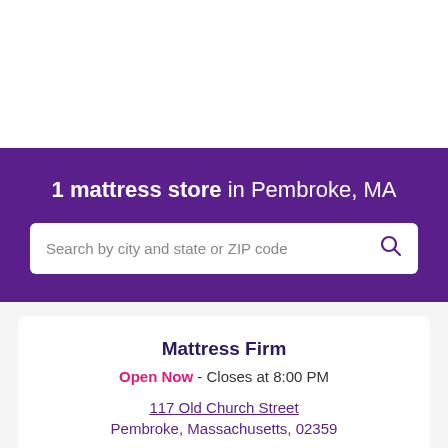1 mattress store in Pembroke, MA
Search by city and state or ZIP code
Mattress Firm
Open Now - Closes at 8:00 PM
117 Old Church Street
Pembroke, Massachusetts, 02359